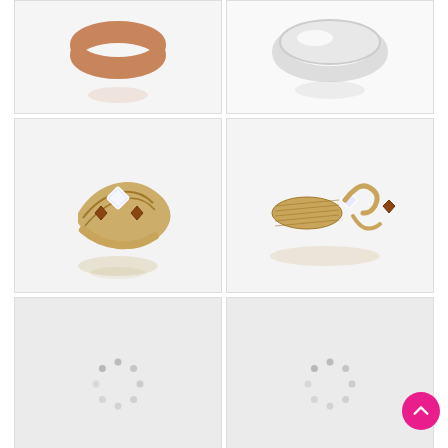[Figure (photo): Partial view of a gold/copper ring at top of page, cropped]
[Figure (photo): Partial view of a silver/white ring or band at top of page, cropped]
[Figure (photo): Gold ring with diamonds and brown gemstones, organic leaf/vine design, full view]
[Figure (photo): Set of gold rings with diamonds, textured band and small ring with gemstones, side view]
[Figure (photo): Loading placeholder with spinner dots, gray background]
[Figure (photo): Loading placeholder with spinner dots, gray background]
[Figure (photo): Partial view of gold ring at bottom, cropped]
[Figure (photo): Partial view of gold ring at bottom, cropped]